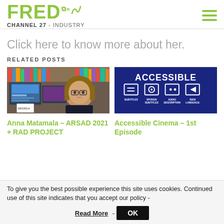FRED CHANNEL 27 - INDUSTRY
Click here to know more about her.
RELATED POSTS
[Figure (photo): Woman with glasses sitting in front of computer monitors in an office/library setting]
[Figure (infographic): Dark blue graphic showing accessibility symbols: [=] SUBTITLES, [o] SPOKEN SUBTITLES, [..] AUDIO DESCRIPTION, [<] SIGN LANGUAGE with title ACCESSIBLE]
Anna Matamala – ARSAD 2021 + RAD PROJECT
Accessible Cinema – 1st Episode
To give you the best possible experience this site uses cookies. Continued use of this site indicates that you accept our policy -
Read More - OK